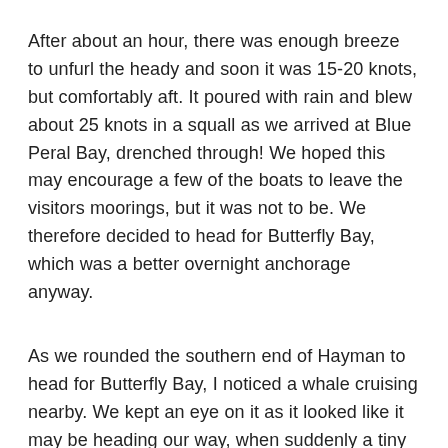After about an hour, there was enough breeze to unfurl the heady and soon it was 15-20 knots, but comfortably aft. It poured with rain and blew about 25 knots in a squall as we arrived at Blue Peral Bay, drenched through! We hoped this may encourage a few of the boats to leave the visitors moorings, but it was not to be. We therefore decided to head for Butterfly Bay, which was a better overnight anchorage anyway.
As we rounded the southern end of Hayman to head for Butterfly Bay, I noticed a whale cruising nearby. We kept an eye on it as it looked like it may be heading our way, when suddenly a tiny baby whale threw itself out of the water in a mini- breach! Several more followed until mum decided to join in,